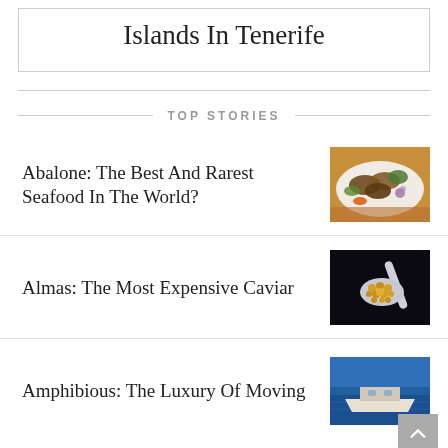Islands In Tenerife
TOP STORIES
Abalone: The Best And Rarest Seafood In The World?
[Figure (photo): Photo of abalone seafood dish on a white plate with garnish]
Almas: The Most Expensive Caviar
[Figure (photo): Photo of golden caviar on a spoon against dark background]
Amphibious: The Luxury Of Moving
[Figure (photo): Photo of a boat on blue water]